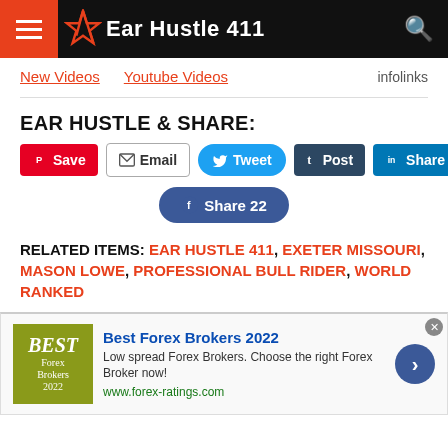Ear Hustle 411
New Videos  Youtube Videos  infolinks
EAR HUSTLE & SHARE:
[Figure (other): Social share buttons: Save (Pinterest), Email, Tweet, Post (Tumblr), Share (LinkedIn), Share 22 (Facebook)]
RELATED ITEMS: EAR HUSTLE 411, EXETER MISSOURI, MASON LOWE, PROFESSIONAL BULL RIDER, WORLD RANKED
[Figure (other): Advertisement banner: Best Forex Brokers 2022. Low spread Forex Brokers. Choose the right Forex Broker now! www.forex-ratings.com]